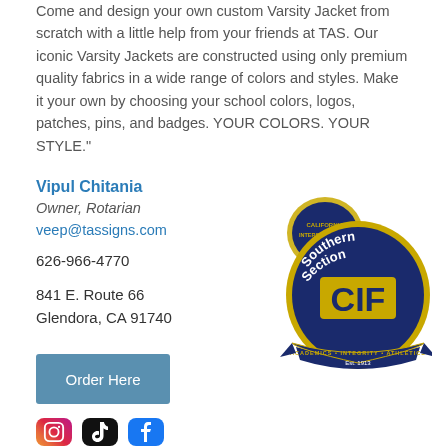Come and design your own custom Varsity Jacket from scratch with a little help from your friends at TAS. Our iconic Varsity Jackets are constructed using only premium quality fabrics in a wide range of colors and styles. Make it your own by choosing your school colors, logos, patches, pins, and badges.  YOUR COLORS. YOUR STYLE.”
Vipul Chitania
Owner, Rotarian
veep@tassigns.com
626-966-4770
841  E. Route 66
Glendora, CA  91740
[Figure (logo): CIF Southern Section logo – dark navy circular badge with gold lettering 'CIF Southern Section', tagline 'Academics • Integrity • Athletics Est. 1913', with a smaller gold California interscholastic federation badge behind it]
Order Here
[Figure (logo): Instagram, TikTok, and Facebook social media icons at bottom of page]